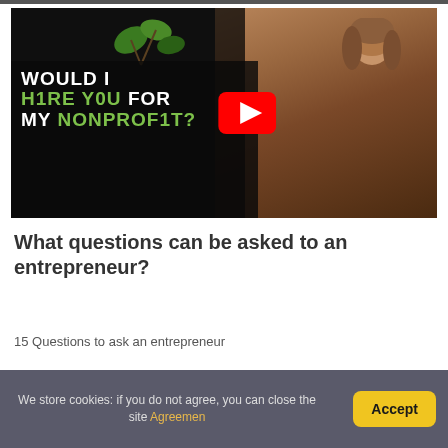[Figure (screenshot): YouTube video thumbnail showing a woman in black clothing seated, with text overlay reading 'WOULD I HIRE YOU FOR MY NONPROFIT?' in white and green on dark background, with a YouTube play button in the center.]
What questions can be asked to an entrepreneur?
15 Questions to ask an entrepreneur
We store cookies: if you do not agree, you can close the site Agreemen